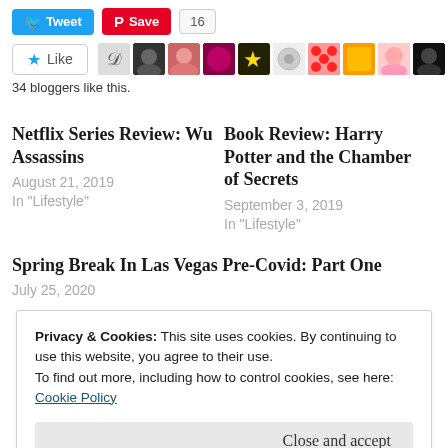[Figure (screenshot): Social sharing buttons: Tweet (blue Twitter button), Save (red Pinterest button), count badge showing 16]
[Figure (screenshot): Like button with star icon and row of 10 blogger avatar thumbnails]
34 bloggers like this.
Netflix Series Review: Wu Assassins
August 21, 2019
In "Lifestyle"
Book Review: Harry Potter and the Chamber of Secrets
September 3, 2019
In "Lifestyle"
Spring Break In Las Vegas Pre-Covid: Part One
July 25, 2020
Privacy & Cookies: This site uses cookies. By continuing to use this website, you agree to their use.
To find out more, including how to control cookies, see here: Cookie Policy
Close and accept